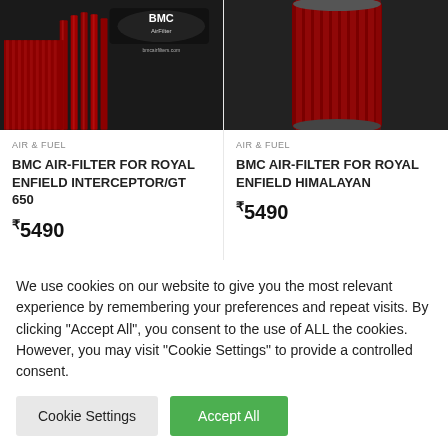[Figure (photo): BMC air filter product image for Royal Enfield Interceptor/GT 650, dark background with red pleated filter visible, BMC logo on black background]
AIR & FUEL
BMC AIR-FILTER FOR ROYAL ENFIELD INTERCEPTOR/GT 650
₹5490
[Figure (photo): BMC air filter product image for Royal Enfield Himalayan, dark background with tall red cylindrical pleated filter]
AIR & FUEL
BMC AIR-FILTER FOR ROYAL ENFIELD HIMALAYAN
₹5490
We use cookies on our website to give you the most relevant experience by remembering your preferences and repeat visits. By clicking "Accept All", you consent to the use of ALL the cookies. However, you may visit "Cookie Settings" to provide a controlled consent.